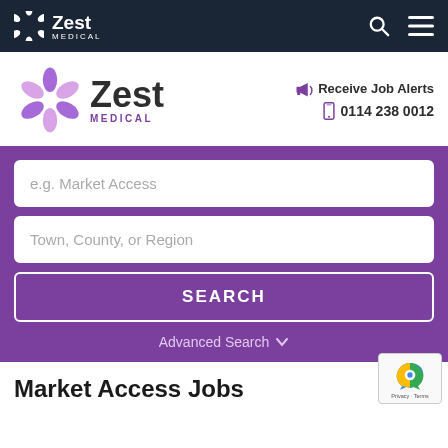Zest Medical — navigation bar with search and menu icons
[Figure (logo): Zest Medical logo with purple snowflake icon, 'Zest' in large bold text and 'MEDICAL' in purple beneath]
Receive Job Alerts
0114 238 0012
e.g. Market Access
Town, County, or Region
SEARCH
Advanced Search ▾
Market Access Jobs